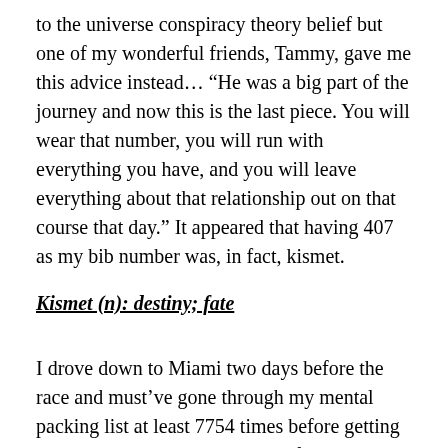to the universe conspiracy theory belief but one of my wonderful friends, Tammy, gave me this advice instead… “He was a big part of the journey and now this is the last piece. You will wear that number, you will run with everything you have, and you will leave everything about that relationship out on that course that day.” It appeared that having 407 as my bib number was, in fact, kismet.
Kismet (n): destiny; fate
I drove down to Miami two days before the race and must’ve gone through my mental packing list at least 7754 times before getting on the road but still managed to forget something that I had to go back home for. The five hour drive down south just served to make me incessantly think about my race plan and the 16 week journey that I had just gone through. I honestly couldn’t believe that the journey would be “over” in just two